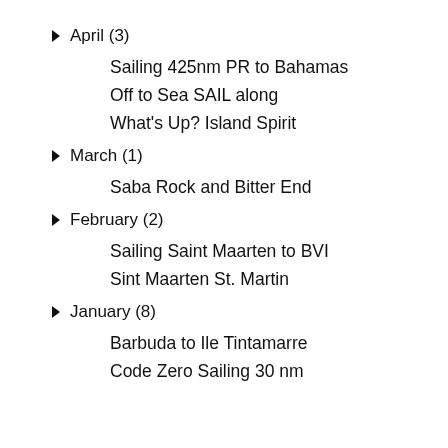▼ April (3)
Sailing 425nm PR to Bahamas
Off to Sea SAIL along
What's Up? Island Spirit
▼ March (1)
Saba Rock and Bitter End
▼ February (2)
Sailing Saint Maarten to BVI
Sint Maarten St. Martin
▼ January (8)
Barbuda to Ile Tintamarre
Code Zero Sailing 30 nm